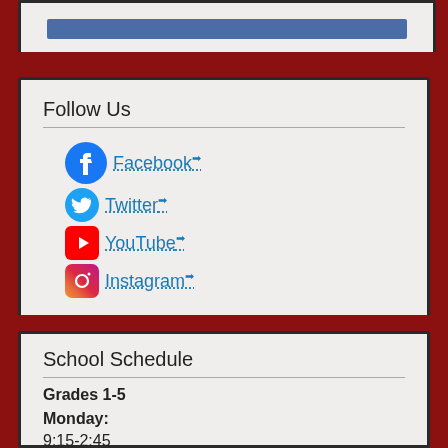[Figure (other): Blue bar at top of page inside a box]
Follow Us
Facebook
Twitter
YouTube
Instagram
School Schedule
Grades 1-5
Monday:
9:15-2:45
Tuesday-Friday